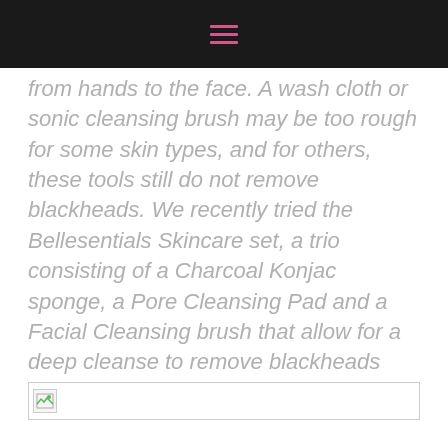≡
from hands to the face. A wash cloth or sonic cleansing brush may be too rough for some skin types, and for others, these tools still do not remove blackheads. We recently tried the Bellesentials Skincare set, a trio consisting of a Charcoal Konjac sponge, a Pore Cleansing Pad and a Facial Cleansing brush that allow for a deep cleanse to remove blackheads without irritating delicate skin tissues.
[Figure (photo): Broken image placeholder at bottom of page]